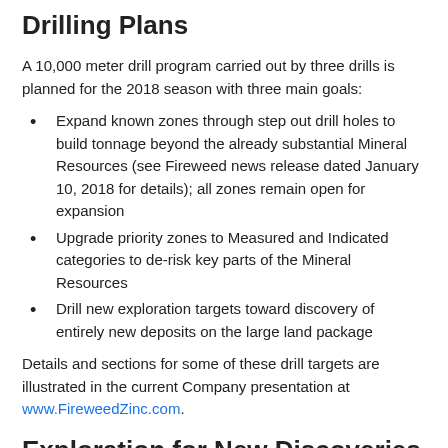Drilling Plans
A 10,000 meter drill program carried out by three drills is planned for the 2018 season with three main goals:
Expand known zones through step out drill holes to build tonnage beyond the already substantial Mineral Resources (see Fireweed news release dated January 10, 2018 for details); all zones remain open for expansion
Upgrade priority zones to Measured and Indicated categories to de-risk key parts of the Mineral Resources
Drill new exploration targets toward discovery of entirely new deposits on the large land package
Details and sections for some of these drill targets are illustrated in the current Company presentation at www.FireweedZinc.com.
Exploration for New Discoveries
Field work began on the property several weeks ago (see Fireweed news release dated June 5, 2018) with sampling and surveying orientation grids to optimize exploration methodologies. To date,